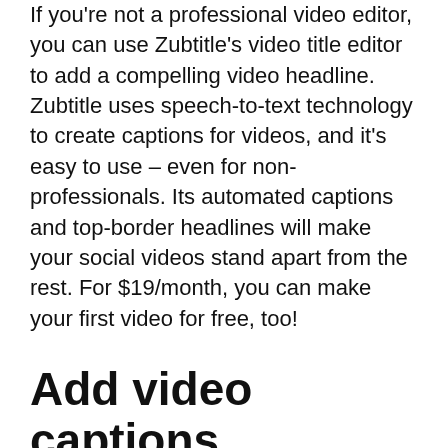If you're not a professional video editor, you can use Zubtitle's video title editor to add a compelling video headline. Zubtitle uses speech-to-text technology to create captions for videos, and it's easy to use – even for non-professionals. Its automated captions and top-border headlines will make your social videos stand apart from the rest. For $19/month, you can make your first video for free, too!
Add video captions automatically
If you've ever watched a YouTube video without captions, you're probably aware of the problem. You'll lose a lot of your viewers